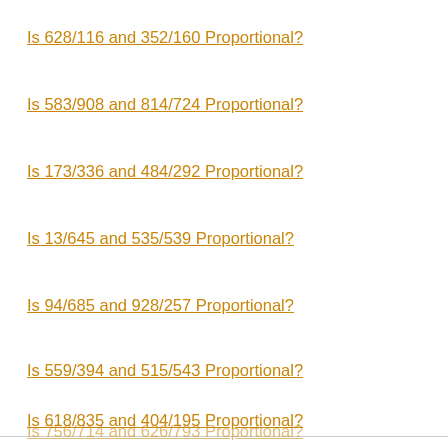Is 628/116 and 352/160 Proportional?
Is 583/908 and 814/724 Proportional?
Is 173/336 and 484/292 Proportional?
Is 13/645 and 535/539 Proportional?
Is 94/685 and 928/257 Proportional?
Is 559/394 and 515/543 Proportional?
Is 618/835 and 404/195 Proportional?
Is 756/714 and 626/793 Proportional?